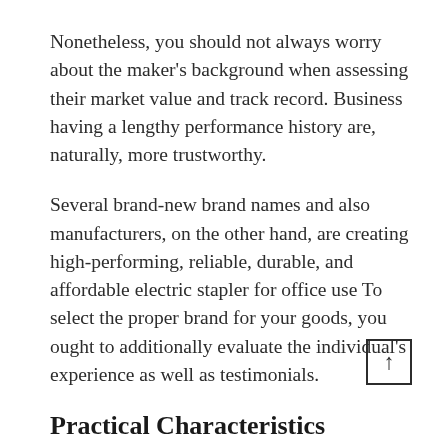Nonetheless, you should not always worry about the maker's background when assessing their market value and track record. Business having a lengthy performance history are, naturally, more trustworthy.
Several brand-new brand names and also manufacturers, on the other hand, are creating high-performing, reliable, durable, and affordable electric stapler for office use To select the proper brand for your goods, you ought to additionally evaluate the individual's experience as well as testimonials.
Practical Characteristics